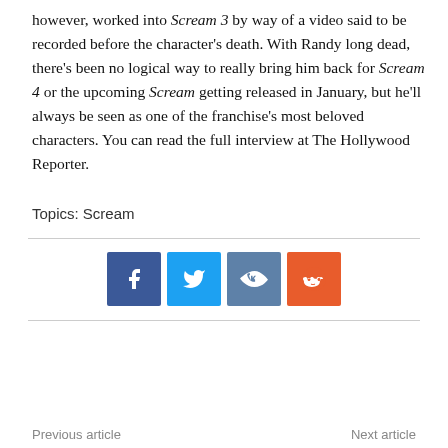however, worked into Scream 3 by way of a video said to be recorded before the character's death. With Randy long dead, there's been no logical way to really bring him back for Scream 4 or the upcoming Scream getting released in January, but he'll always be seen as one of the franchise's most beloved characters. You can read the full interview at The Hollywood Reporter.
Topics: Scream
[Figure (infographic): Social media share buttons: Facebook (blue), Twitter (light blue), VK (dark blue/purple), Reddit (orange)]
Previous article    Next article